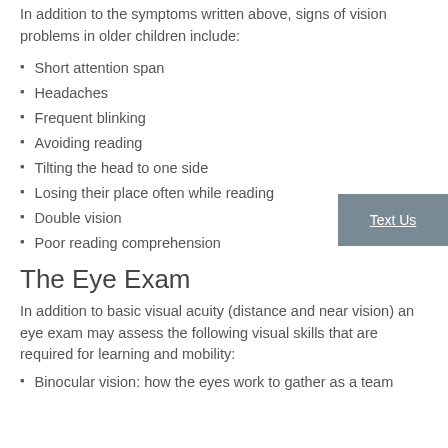In addition to the symptoms written above, signs of vision problems in older children include:
Short attention span
Headaches
Frequent blinking
Avoiding reading
Tilting the head to one side
Losing their place often while reading
Double vision
Poor reading comprehension
The Eye Exam
In addition to basic visual acuity (distance and near vision) an eye exam may assess the following visual skills that are required for learning and mobility:
Binocular vision: how the eyes work to gather as a team